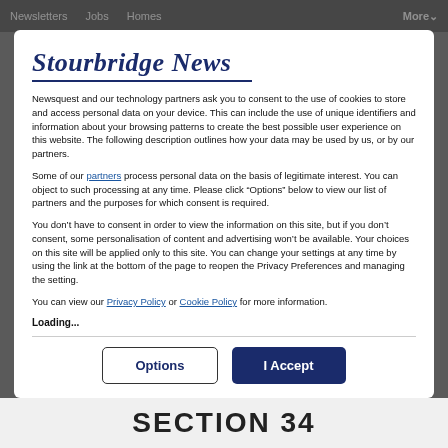Newsletters   Jobs   Homes   More
[Figure (logo): Stourbridge News logo with italic serif text and underline]
Newsquest and our technology partners ask you to consent to the use of cookies to store and access personal data on your device. This can include the use of unique identifiers and information about your browsing patterns to create the best possible user experience on this website. The following description outlines how your data may be used by us, or by our partners.
Some of our partners process personal data on the basis of legitimate interest. You can object to such processing at any time. Please click “Options” below to view our list of partners and the purposes for which consent is required.
You don’t have to consent in order to view the information on this site, but if you don’t consent, some personalisation of content and advertising won’t be available. Your choices on this site will be applied only to this site. You can change your settings at any time by using the link at the bottom of the page to reopen the Privacy Preferences and managing the setting.
You can view our Privacy Policy or Cookie Policy for more information.
Loading...
Options   I Accept